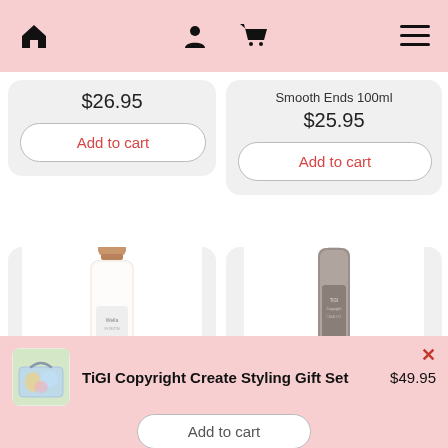[Figure (screenshot): E-commerce mobile app page showing product cards with prices and add to cart buttons, plus a bottom cart popup for TiGI Copyright Create Styling Gift Set]
$26.95
Add to cart
Smooth Ends 100ml
$25.95
Add to cart
[Figure (photo): Wella Fusion shampoo bottle with rose gold cap, white bottle]
[Figure (photo): TIGI hair spray bottle, grey/brown with white pump cap]
TiGI Copyright Create Styling Gift Set   $49.95
Add to cart